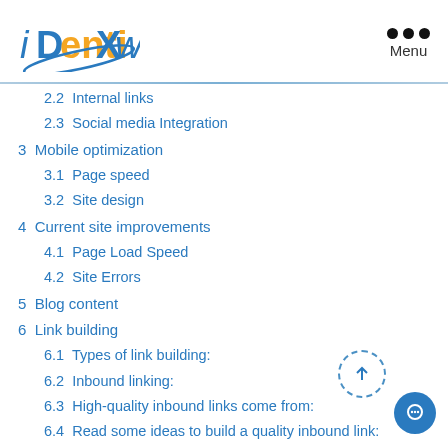[Figure (logo): iDentiXweb logo with stylized text in blue and orange with a swoosh]
2.2  Internal links
2.3  Social media Integration
3  Mobile optimization
3.1  Page speed
3.2  Site design
4  Current site improvements
4.1  Page Load Speed
4.2  Site Errors
5  Blog content
6  Link building
6.1  Types of link building:
6.2  Inbound linking:
6.3  High-quality inbound links come from:
6.4  Read some ideas to build a quality inbound link:
6.5  Outbound link: